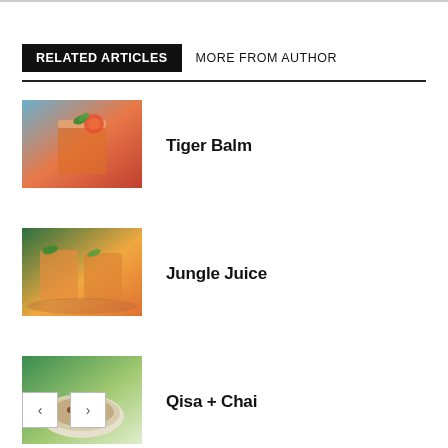RELATED ARTICLES
MORE FROM AUTHOR
[Figure (photo): Photo of a Tiger Balm cocktail – orange drink with mint and a citrus garnish in a glass]
Tiger Balm
[Figure (photo): Photo of Jungle Juice – two glasses of orange drink with mint garnish on a table]
Jungle Juice
[Figure (photo): Photo of Qisa + Chai – a white bowl of tea with spices on a green outdoor background]
Qisa + Chai